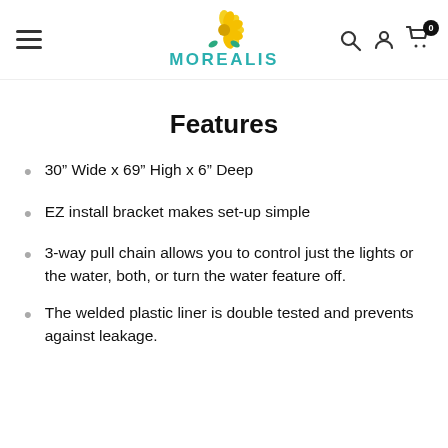MOREALIS
Features
30" Wide x 69" High x 6" Deep
EZ install bracket makes set-up simple
3-way pull chain allows you to control just the lights or the water, both, or turn the water feature off.
The welded plastic liner is double tested and prevents against leakage.